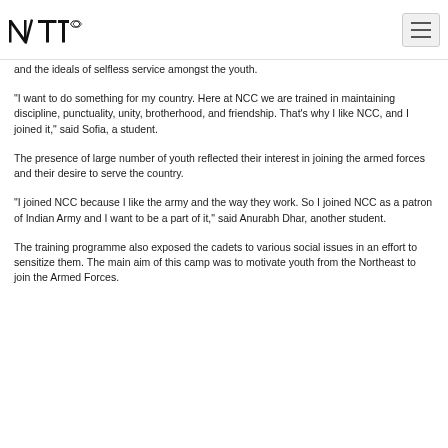NTI logo and navigation menu
and the ideals of selfless service amongst the youth.
"I want to do something for my country. Here at NCC we are trained in maintaining discipline, punctuality, unity, brotherhood, and friendship. That's why I like NCC, and I joined it," said Sofia, a student.
The presence of large number of youth reflected their interest in joining the armed forces and their desire to serve the country.
"I joined NCC because I like the army and the way they work. So I joined NCC as a patron of Indian Army and I want to be a part of it," said Anurabh Dhar, another student.
The training programme also exposed the cadets to various social issues in an effort to sensitize them. The main aim of this camp was to motivate youth from the Northeast to join the Armed Forces.